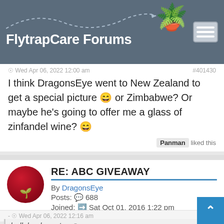FlytrapCare Forums
Wed Apr 06, 2022 12:00 am  #401430
I think DragonsEye went to New Zealand to get a special picture 😄 or Zimbabwe? Or maybe he's going to offer me a glass of zinfandel wine? 😄
Panman liked this
RE: ABC GIVEAWAY
By DragonsEye
Posts: 688
Joined: Sat Oct 01, 2016 1:22 pm
Wed Apr 06, 2022 12:16 am  #40...
hollyhock wrote: